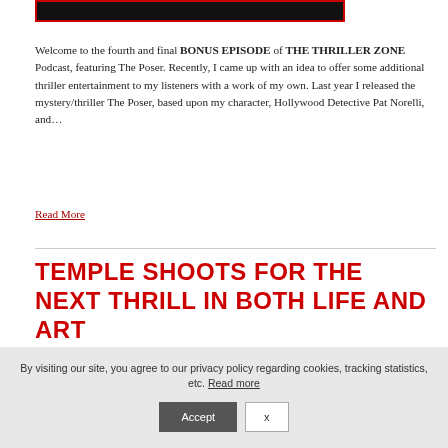[Figure (other): Black rectangle with red border representing a podcast episode image thumbnail]
Welcome to the fourth and final BONUS EPISODE of THE THRILLER ZONE Podcast, featuring The Poser. Recently, I came up with an idea to offer some additional thriller entertainment to my listeners with a work of my own. Last year I released the mystery/thriller The Poser, based upon my character, Hollywood Detective Pat Norelli, and…
Read More
TEMPLE SHOOTS FOR THE NEXT THRILL IN BOTH LIFE AND ART
By visiting our site, you agree to our privacy policy regarding cookies, tracking statistics, etc. Read more